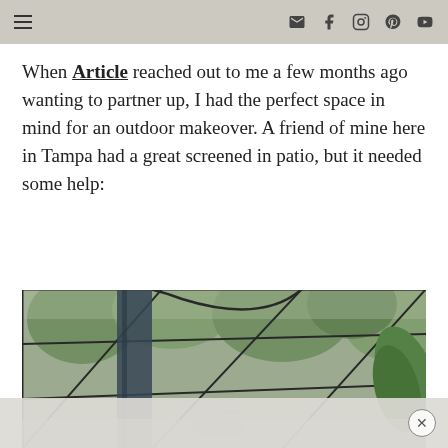Navigation header with hamburger menu and social icons (email, facebook, instagram, pinterest, youtube)
When Article reached out to me a few months ago wanting to partner up, I had the perfect space in mind for an outdoor makeover. A friend of mine here in Tampa had a great screened in patio, but it needed some help:
[Figure (photo): Photo of a screened-in patio enclosure with dark metal frame, green trees visible through the screen, a large tropical leaf plant on the right, and patio furniture partially visible at the bottom.]